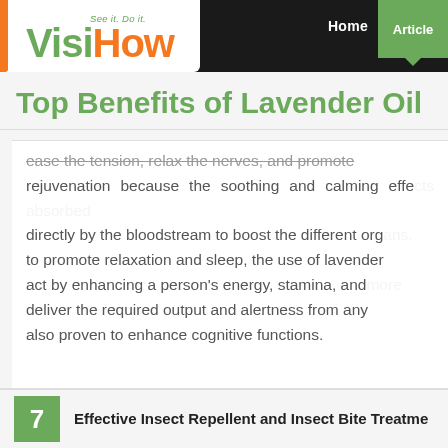VisiHow See it. Do it. — Home | Articles
Top Benefits of Lavender Oil
ease the tension, relax the nerves, and promote rejuvenation because the soothing and calming effects are absorbed directly by the bloodstream to boost the different organs. In addition to promote relaxation and sleep, the use of lavender oil can also act by enhancing a person's energy, stamina, and alertness to deliver the required output and alertness from any task. It is also proven to enhance cognitive functions.
7 Effective Insect Repellent and Insect Bite Treatment